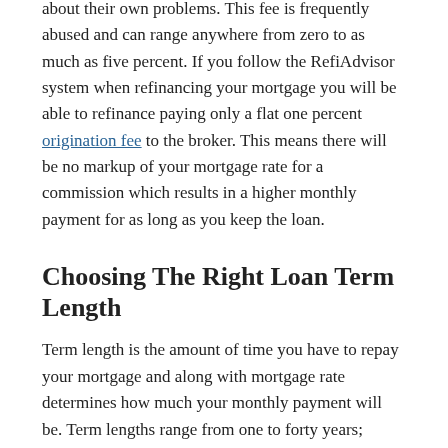about their own problems. This fee is frequently abused and can range anywhere from zero to as much as five percent. If you follow the RefiAdvisor system when refinancing your mortgage you will be able to refinance paying only a flat one percent origination fee to the broker. This means there will be no markup of your mortgage rate for a commission which results in a higher monthly payment for as long as you keep the loan.
Choosing The Right Loan Term Length
Term length is the amount of time you have to repay your mortgage and along with mortgage rate determines how much your monthly payment will be. Term lengths range from one to forty years; however, the most common choices are fifteen year mortgages when refinancing and thirty years for purchase loans. Each type of term length has its advantages. If you need